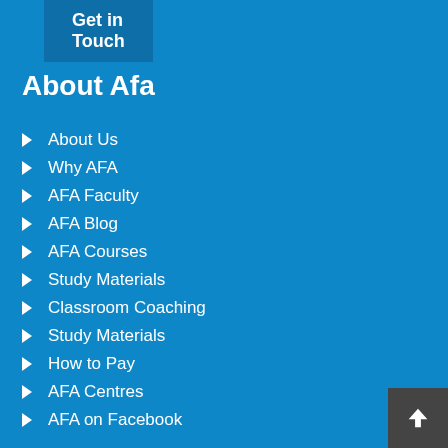Get in Touch
About Afa
About Us
Why AFA
AFA Faculty
AFA Blog
AFA Courses
Study Materials
Classroom Coaching
Study Materials
How to Pay
AFA Centres
AFA on Facebook